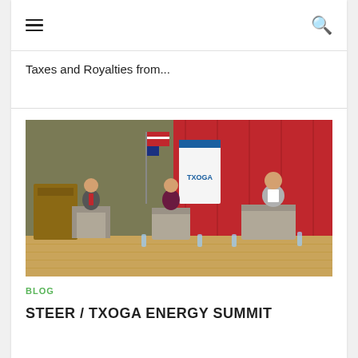≡  🔍
Taxes and Royalties from...
[Figure (photo): Panel discussion at STEER / TXOGA Energy Summit. Three people seated in chairs on a stage with red curtain backdrop. An American flag and a TXOGA banner are visible. A man in a suit with red tie on the left appears to be speaking, a woman in the center holds papers, and an older man in a gray suit sits on the right.]
BLOG
STEER / TXOGA ENERGY SUMMIT